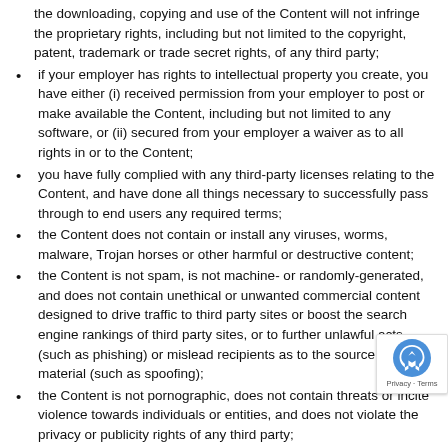the downloading, copying and use of the Content will not infringe the proprietary rights, including but not limited to the copyright, patent, trademark or trade secret rights, of any third party;
if your employer has rights to intellectual property you create, you have either (i) received permission from your employer to post or make available the Content, including but not limited to any software, or (ii) secured from your employer a waiver as to all rights in or to the Content;
you have fully complied with any third-party licenses relating to the Content, and have done all things necessary to successfully pass through to end users any required terms;
the Content does not contain or install any viruses, worms, malware, Trojan horses or other harmful or destructive content;
the Content is not spam, is not machine- or randomly-generated, and does not contain unethical or unwanted commercial content designed to drive traffic to third party sites or boost the search engine rankings of third party sites, or to further unlawful acts (such as phishing) or mislead recipients as to the source of the material (such as spoofing);
the Content is not pornographic, does not contain threats or incite violence towards individuals or entities, and does not violate the privacy or publicity rights of any third party;
your blog is not getting advertised via unwanted electronic messages such as spam links on newsgroups, email lists, other blogs and web sites, and similar unsolicited promotional methods;
your blog is not named in a manner that misleads your readers into thinking that you are another person or company. For example, your blog's URL or name is not the name of a person other than yourself or company other than your own; and
you have, in the case of Content that includes computer accurately categorized and/or described the type, nature, uses and effects of the materials, whether requested to do so by Trending